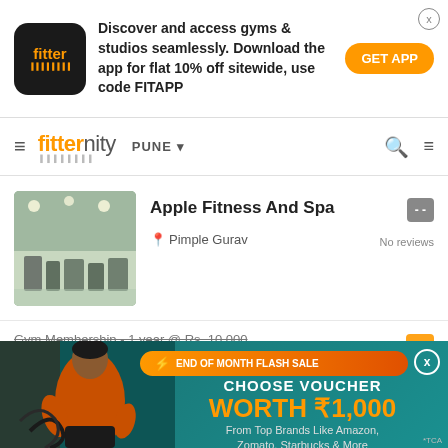[Figure (screenshot): Fitter app logo - black rounded square with orange text]
Discover and access gyms & studios seamlessly. Download the app for flat 10% off sitewide, use code FITAPP
GET APP
fitternity PUNE
Apple Fitness And Spa
Pimple Gurav
No reviews
Gym Membership - 1 year @ Rs. 10,000
[Figure (infographic): End of Month Flash Sale promotional banner with teal background, man doing battle ropes exercise, voucher worth Rs 1000 offer from Amazon, Zomato, Starbucks & More]
END OF MONTH FLASH SALE
CHOOSE VOUCHER
WORTH ₹1,000
From Top Brands Like Amazon, Zomato, Starbucks & More
BUY NOW >
*TCA